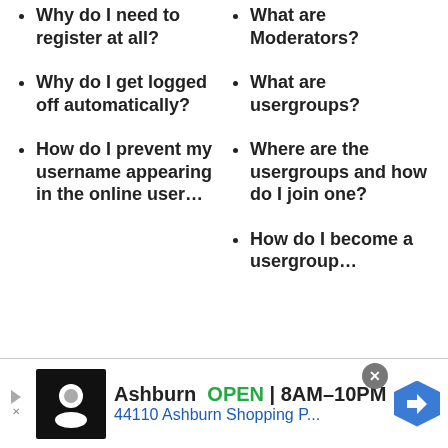Why do I need to register at all?
What are Moderators?
Why do I get logged off automatically?
What are usergroups?
How do I prevent my username appearing in the online user...
Where are the usergroups and how do I join one?
How do I become a usergroup...